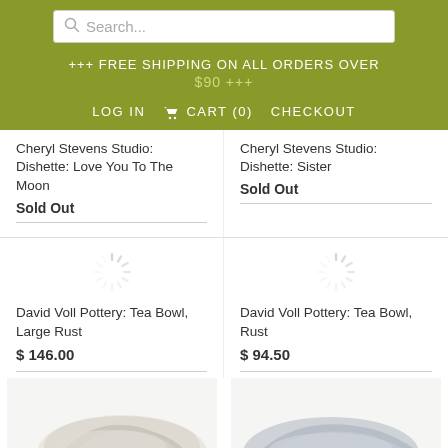[Figure (screenshot): E-commerce website header with search bar, free shipping banner, and navigation links (LOG IN, CART (0), CHECKOUT) on olive/green background]
Cheryl Stevens Studio: Dishette: Love You To The Moon
Sold Out
Cheryl Stevens Studio: Dishette: Sister
Sold Out
[Figure (illustration): Loading spinner icon (gray radial lines)]
David Voll Pottery: Tea Bowl, Large Rust
$ 146.00
[Figure (illustration): Loading spinner icon (gray radial lines)]
David Voll Pottery: Tea Bowl, Rust
$ 94.50
[Figure (photo): Partial product image, light-colored ceramic or pottery item on white background]
[Figure (photo): Partial product image, gray-blue colored ceramic or pottery item on white background]